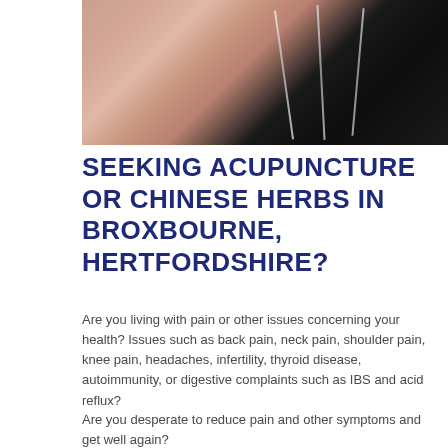[Figure (photo): Close-up photo of a hand holding acupuncture needles against a dark background]
SEEKING ACUPUNCTURE OR CHINESE HERBS IN BROXBOURNE, HERTFORDSHIRE?
Are you living with pain or other issues concerning your health? Issues such as back pain, neck pain, shoulder pain, knee pain, headaches, infertility, thyroid disease, autoimmunity, or digestive complaints such as IBS and acid reflux?
Are you desperate to reduce pain and other symptoms and get well again?